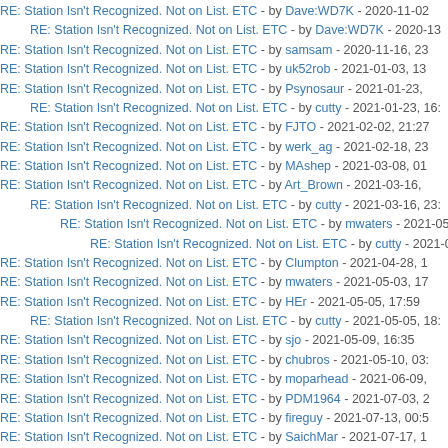RE: Station Isn't Recognized. Not on List. ETC - by Dave:WD7K - 2020-11-02
RE: Station Isn't Recognized. Not on List. ETC - by Dave:WD7K - 2020-13
RE: Station Isn't Recognized. Not on List. ETC - by samsam - 2020-11-16, 23
RE: Station Isn't Recognized. Not on List. ETC - by uk52rob - 2021-01-03, 13
RE: Station Isn't Recognized. Not on List. ETC - by Psynosaur - 2021-01-23,
RE: Station Isn't Recognized. Not on List. ETC - by cutty - 2021-01-23, 16:
RE: Station Isn't Recognized. Not on List. ETC - by FJTO - 2021-02-02, 21:27
RE: Station Isn't Recognized. Not on List. ETC - by werk_ag - 2021-02-18, 23
RE: Station Isn't Recognized. Not on List. ETC - by MAshep - 2021-03-08, 01
RE: Station Isn't Recognized. Not on List. ETC - by Art_Brown - 2021-03-16,
RE: Station Isn't Recognized. Not on List. ETC - by cutty - 2021-03-16, 23:
RE: Station Isn't Recognized. Not on List. ETC - by mwaters - 2021-05-0
RE: Station Isn't Recognized. Not on List. ETC - by cutty - 2021-05-03
RE: Station Isn't Recognized. Not on List. ETC - by Clumpton - 2021-04-28, 1
RE: Station Isn't Recognized. Not on List. ETC - by mwaters - 2021-05-03, 17
RE: Station Isn't Recognized. Not on List. ETC - by HEr - 2021-05-05, 17:59
RE: Station Isn't Recognized. Not on List. ETC - by cutty - 2021-05-05, 18:
RE: Station Isn't Recognized. Not on List. ETC - by sjo - 2021-05-09, 16:35
RE: Station Isn't Recognized. Not on List. ETC - by chubros - 2021-05-10, 03:
RE: Station Isn't Recognized. Not on List. ETC - by moparhead - 2021-06-09,
RE: Station Isn't Recognized. Not on List. ETC - by PDM1964 - 2021-07-03, 2
RE: Station Isn't Recognized. Not on List. ETC - by fireguy - 2021-07-13, 00:5
RE: Station Isn't Recognized. Not on List. ETC - by SaichMar - 2021-07-17, 1
RE: Station Isn't Recognized. Not on List. ETC - by cutty - 2021-07-17, 14:1
RE: Station Isn't Recognized. Not on List. ETC - by SaichMar - 2021-0